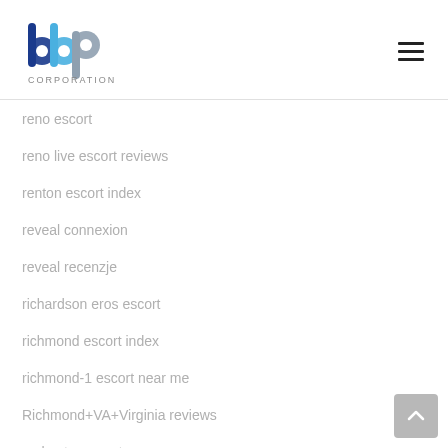[Figure (logo): bbp Corporation logo — stylized letters b, b, p in blue/grey colors with CORPORATION text below]
reno escort
reno live escort reviews
renton escort index
reveal connexion
reveal recenzje
richardson eros escort
richmond escort index
richmond-1 escort near me
Richmond+VA+Virginia reviews
rochester escort